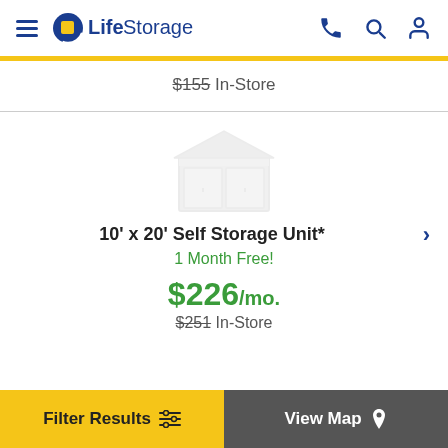[Figure (logo): Life Storage logo with hamburger menu icon on the left and phone, search, user icons on the right]
$155 In-Store
[Figure (illustration): Faded storage unit illustration]
10' x 20' Self Storage Unit*
1 Month Free!
$226/mo.
$251 In-Store
Filter Results
View Map